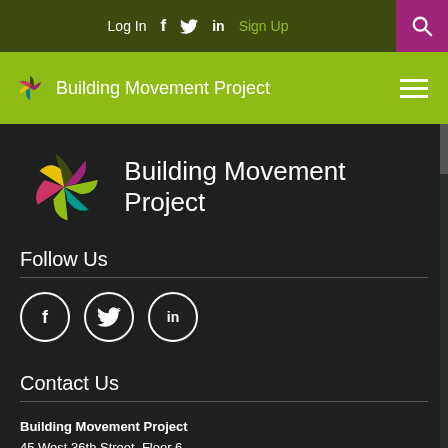Log In  f  Twitter  in  Sign Up  Search
[Figure (logo): Building Movement Project logo and name in lime green navigation bar with hamburger menu]
[Figure (logo): Building Movement Project large pinwheel logo with colorful segments and organization name in white on dark background]
Follow Us
[Figure (illustration): Three social media icons in white circles: Facebook (f), Twitter (bird), LinkedIn (in)]
Contact Us
Building Movement Project
45 West 36th Street, Floor 6